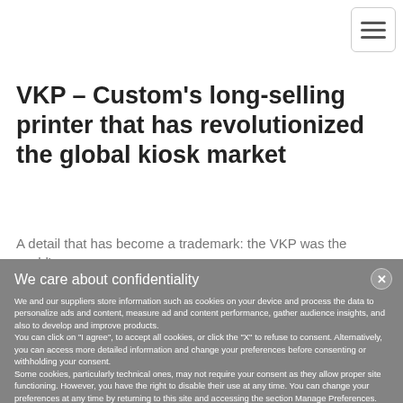[Figure (other): Hamburger menu button icon with three horizontal lines, enclosed in a rounded rectangle border]
VKP – Custom's long-selling printer that has revolutionized the global kiosk market
A detail that has become a trademark: the VKP was the world's
We care about confidentiality
We and our suppliers store information such as cookies on your device and process the data to personalize ads and content, measure ad and content performance, gather audience insights, and also to develop and improve products.
You can click on "I agree", to accept all cookies, or click the "X" to refuse to consent. Alternatively, you can access more detailed information and change your preferences before consenting or withholding your consent.
Some cookies, particularly technical ones, may not require your consent as they allow proper site functioning. However, you have the right to disable their use at any time. You can change your preferences at any time by returning to this site and accessing the section Manage Preferences.
For more information on the use of cookies and data processing within the site you can consult our Privacy Policy and Cookie Policy.
I AGREE